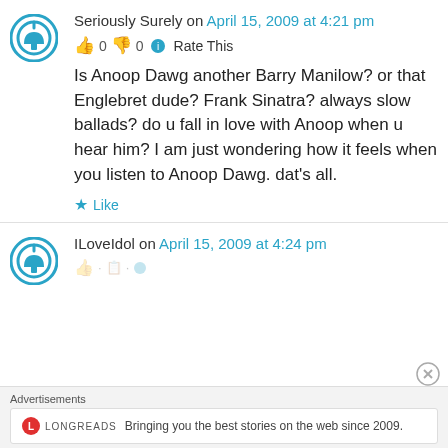Seriously Surely on April 15, 2009 at 4:21 pm
0 0 Rate This
Is Anoop Dawg another Barry Manilow? or that Englebret dude? Frank Sinatra? always slow ballads? do u fall in love with Anoop when u hear him? I am just wondering how it feels when you listen to Anoop Dawg. dat's all.
Like
ILoveIdol on April 15, 2009 at 4:24 pm
Advertisements
Bringing you the best stories on the web since 2009.